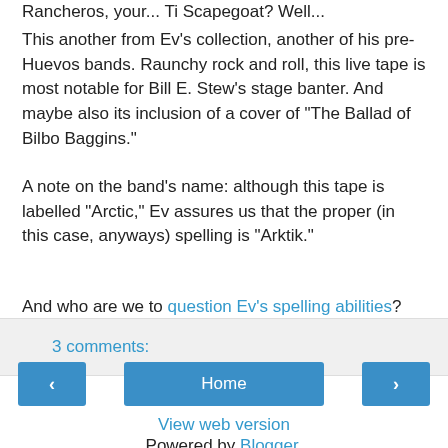Rancheros, your... Ti Scapegoat? Well...
This another from Ev's collection, another of his pre-Huevos bands. Raunchy rock and roll, this live tape is most notable for Bill E. Stew's stage banter. And maybe also its inclusion of a cover of "The Ballad of Bilbo Baggins."
A note on the band's name: although this tape is labelled "Arctic," Ev assures us that the proper (in this case, anyways) spelling is "Arktik."
And who are we to question Ev's spelling abilities?
3 comments:
Home
View web version
Powered by Blogger.